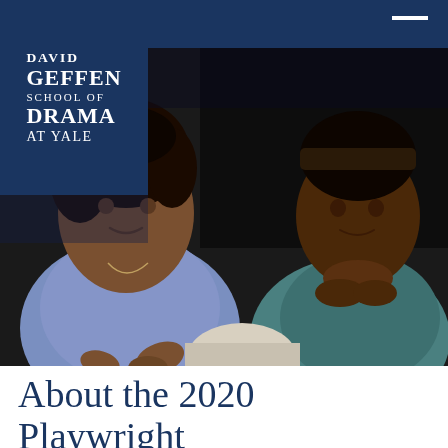[Figure (logo): David Geffen School of Drama at Yale logo — white text on dark navy blue background]
[Figure (photo): Two young Black actors in a dramatic scene — one in a blue shirt gesturing with hands, the other in a teal top resting chin on hands, both facing each other against a dark stage background]
About the 2020 Playwright...